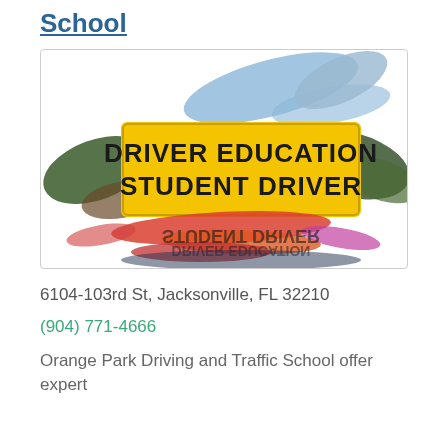School
[Figure (photo): Yellow Driver Education Student Driver sign with colorful brush strokes and a mirror reflection below]
6104-103rd St, Jacksonville, FL 32210
(904) 771-4666
Orange Park Driving and Traffic School offer expert